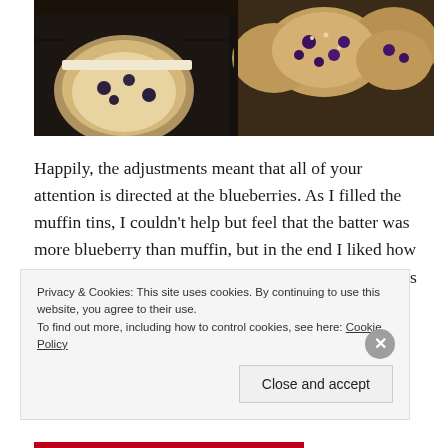[Figure (photo): Two side-by-side photos of blueberry muffins: left shows raw batter with blueberries in dark muffin tin liners, right shows baked muffins with blueberries in a dark muffin pan.]
Happily, the adjustments meant that all of your attention is directed at the blueberries. As I filled the muffin tins, I couldn't help but feel that the batter was more blueberry than muffin, but in the end I liked how chock-full of fruit these muffins were. The texture was very light as well, which I liked for a muffin to accompany
Privacy & Cookies: This site uses cookies. By continuing to use this website, you agree to their use.
To find out more, including how to control cookies, see here: Cookie Policy

[Close and accept]